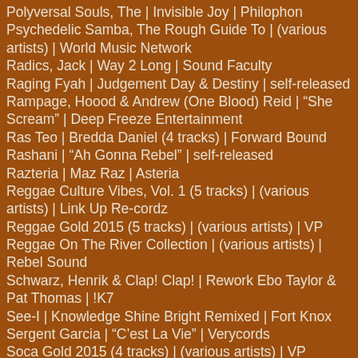Polyversal Souls, The | Invisible Joy | Philophon
Psychedelic Samba, The Rough Guide To | (various artists) | World Music Network
Radics, Jack | Way 2 Long | Sound Faculty
Raging Fyah | Judgement Day & Destiny | self-released
Rampage, Hoood & Andrew (One Blood) Reid | "She Scream" | Deep Freeze Entertainment
Ras Teo | Bredda Daniel (4 tracks) | Forward Bound
Rashani | "Ah Gonna Rebel" | self-released
Razteria | Maz Raz | Asteria
Reggae Culture Vibes, Vol. 1 (5 tracks) | (various artists) | Link Up Re-cordz
Reggae Gold 2015 (5 tracks) | (various artists) | VP
Reggae On The River Collection | (various artists) | Rebel Sound
Schwarz, Henrik & Clap! Clap! | Rework Ebo Taylor & Pat Thomas | !K7
See-I | Knowledge Shine Bright Remixed | Fort Knox
Sergent Garcia | "C'est La Vie" | Verycords
Soca Gold 2015 (4 tracks) | (various artists) | VP
Souljazz Orchestra, The | "Shock & Awe" | Strut
Spanglish Fly | New York Boogaloo | Chaco World Music